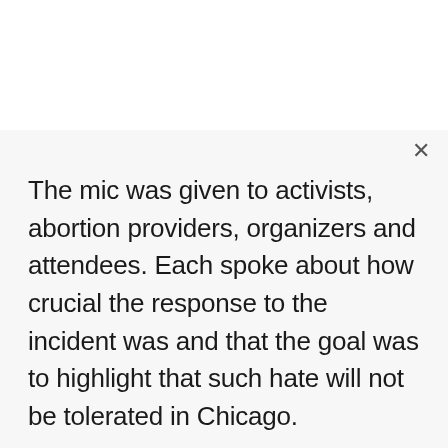The mic was given to activists, abortion providers, organizers and attendees. Each spoke about how crucial the response to the incident was and that the goal was to highlight that such hate will not be tolerated in Chicago.